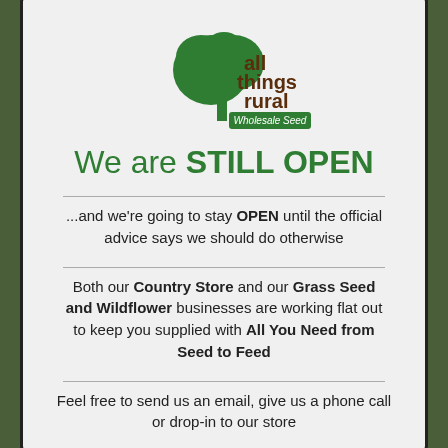[Figure (logo): All Things Rural Wholesale Seed logo — green tree silhouette with text 'all things rural' in brown and 'Wholesale Seed' in green banner]
We are STILL OPEN
...and we're going to stay OPEN until the official advice says we should do otherwise
Both our Country Store and our Grass Seed and Wildflower businesses are working flat out to keep you supplied with All You Need from Seed to Feed
Feel free to send us an email, give us a phone call or drop-in to our store